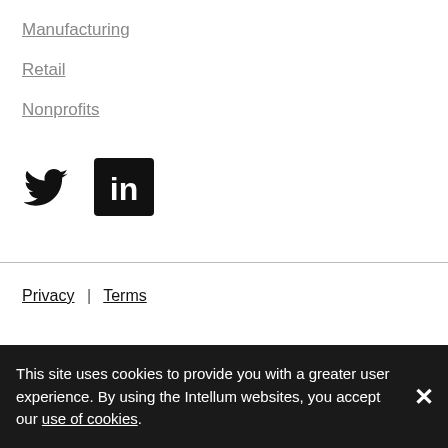Manufacturing
Retail
Nonprofits
[Figure (logo): Twitter bird logo icon in black]
[Figure (logo): LinkedIn 'in' logo icon white on black rounded square]
Privacy | Terms
This site uses cookies to provide you with a greater user experience. By using the Intellum websites, you accept our use of cookies.